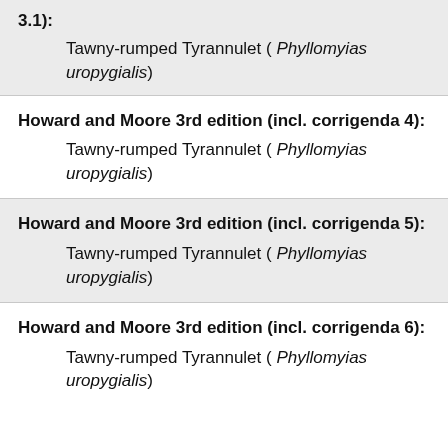3.1):
Tawny-rumped Tyrannulet ( Phyllomyias uropygialis)
Howard and Moore 3rd edition (incl. corrigenda 4):
Tawny-rumped Tyrannulet ( Phyllomyias uropygialis)
Howard and Moore 3rd edition (incl. corrigenda 5):
Tawny-rumped Tyrannulet ( Phyllomyias uropygialis)
Howard and Moore 3rd edition (incl. corrigenda 6):
Tawny-rumped Tyrannulet ( Phyllomyias uropygialis)